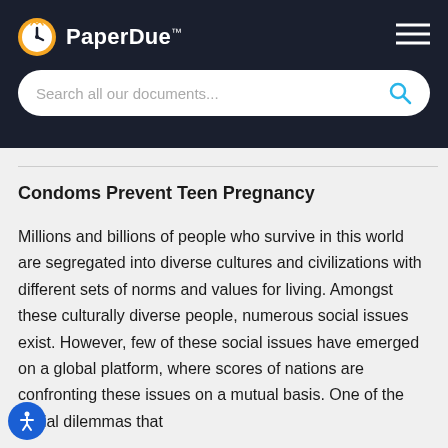PaperDue™
Condoms Prevent Teen Pregnancy
Millions and billions of people who survive in this world are segregated into diverse cultures and civilizations with different sets of norms and values for living. Amongst these culturally diverse people, numerous social issues exist. However, few of these social issues have emerged on a global platform, where scores of nations are confronting these issues on a mutual basis. One of the social dilemmas that